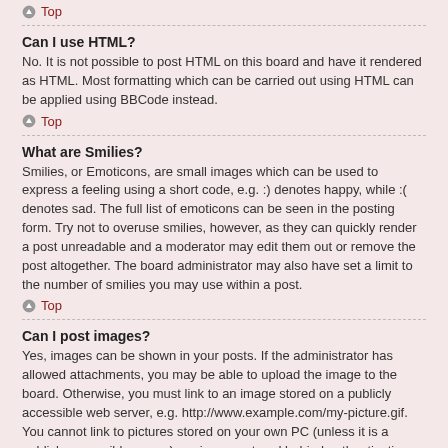Top
Can I use HTML?
No. It is not possible to post HTML on this board and have it rendered as HTML. Most formatting which can be carried out using HTML can be applied using BBCode instead.
Top
What are Smilies?
Smilies, or Emoticons, are small images which can be used to express a feeling using a short code, e.g. :) denotes happy, while :( denotes sad. The full list of emoticons can be seen in the posting form. Try not to overuse smilies, however, as they can quickly render a post unreadable and a moderator may edit them out or remove the post altogether. The board administrator may also have set a limit to the number of smilies you may use within a post.
Top
Can I post images?
Yes, images can be shown in your posts. If the administrator has allowed attachments, you may be able to upload the image to the board. Otherwise, you must link to an image stored on a publicly accessible web server, e.g. http://www.example.com/my-picture.gif. You cannot link to pictures stored on your own PC (unless it is a publicly accessible server) nor images stored behind authentication mechanisms, e.g. hotmail or yahoo mailboxes, password protected sites, etc. To display the image use the BBCode [img] tag.
Top